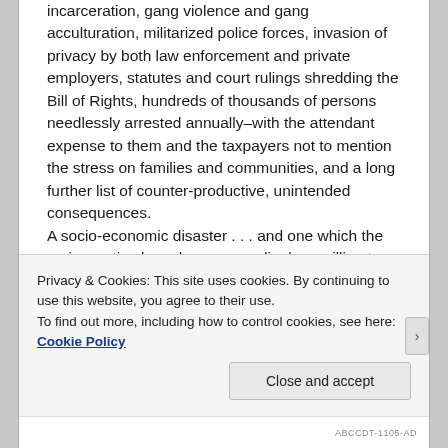incarceration, gang violence and gang acculturation, militarized police forces, invasion of privacy by both law enforcement and private employers, statutes and court rulings shredding the Bill of Rights, hundreds of thousands of persons needlessly arrested annually–with the attendant expense to them and the taxpayers not to mention the stress on families and communities, and a long further list of counter-productive, unintended consequences. A socio-economic disaster . . . and one which the major parties have been exceedingly unwilling to correct. The racial disparities in the enforcement of drug laws, notably the marijuana laws, as established in well-publicized statistics compiled
Privacy & Cookies: This site uses cookies. By continuing to use this website, you agree to their use. To find out more, including how to control cookies, see here: Cookie Policy
ABCCDT-1105-AD